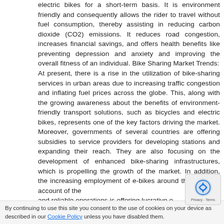electric bikes for a short-term basis. It is environment friendly and consequently allows the rider to travel without fuel consumption, thereby assisting in reducing carbon dioxide (CO2) emissions. It reduces road congestion, increases financial savings, and offers health benefits like preventing depression and anxiety and improving the overall fitness of an individual. Bike Sharing Market Trends: At present, there is a rise in the utilization of bike-sharing services in urban areas due to increasing traffic congestion and inflating fuel prices across the globe. This, along with the growing awareness about the benefits of environment-friendly transport solutions, such as bicycles and electric bikes, represents one of the key factors driving the market. Moreover, governments of several countries are offering subsidies to service providers for developing stations and expanding their reach. They are also focusing on the development of enhanced bike-sharing infrastructures, which is propelling the growth of the market. In addition, the increasing employment of e-bikes around the world on account of the and reliable operations is offering lucrative o
By continuing to use this site you consent to the use of cookies on your device as described in our Cookie Policy unless you have disabled them.